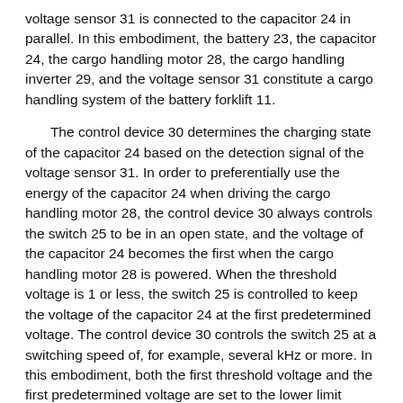voltage sensor 31 is connected to the capacitor 24 in parallel. In this embodiment, the battery 23, the capacitor 24, the cargo handling motor 28, the cargo handling inverter 29, and the voltage sensor 31 constitute a cargo handling system of the battery forklift 11.
The control device 30 determines the charging state of the capacitor 24 based on the detection signal of the voltage sensor 31. In order to preferentially use the energy of the capacitor 24 when driving the cargo handling motor 28, the control device 30 always controls the switch 25 to be in an open state, and the voltage of the capacitor 24 becomes the first when the cargo handling motor 28 is powered. When the threshold voltage is 1 or less, the switch 25 is controlled to keep the voltage of the capacitor 24 at the first predetermined voltage. The control device 30 controls the switch 25 at a switching speed of, for example, several kHz or more. In this embodiment, both the first threshold voltage and the first predetermined voltage are set to the lower limit voltage (allowable lower limit value) of the allowable voltage of the capacitor 24.
The controller 30 preferentially uses the energy of the